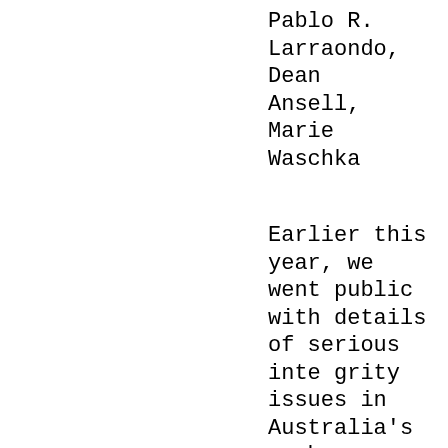Pablo R. Larraondo, Dean Ansell, Marie Waschka
Earlier this year, we went public with details of serious integrity issues in Australia's carbon market, which forms part of the Emissions Reduction Fund (ERF)